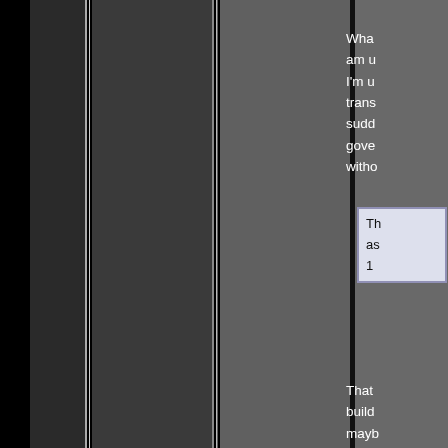[Figure (photo): Dark background with vertical stripes of varying shades of gray and black, occupying the left portion of the page.]
Wha am u I'm u trans sudd gove witho
Th as 1
That build mayb